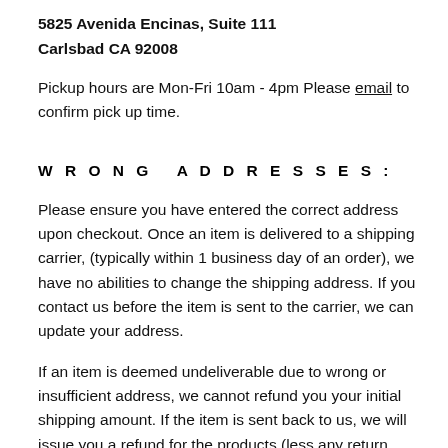Please pick up at:
5825 Avenida Encinas, Suite 111
Carlsbad CA 92008
Pickup hours are Mon-Fri 10am - 4pm Please email to confirm pick up time.
WRONG ADDRESSES:
Please ensure you have entered the correct address upon checkout. Once an item is delivered to a shipping carrier, (typically within 1 business day of an order), we have no abilities to change the shipping address. If you contact us before the item is sent to the carrier, we can update your address.
If an item is deemed undeliverable due to wrong or insufficient address, we cannot refund you your initial shipping amount. If the item is sent back to us, we will issue you a refund for the products (less any return shipping we are charged, if applicable). If the package is not returned to us, (i.e. if you sent it to an old address